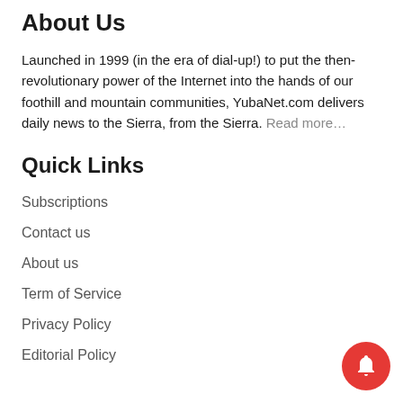About Us
Launched in 1999 (in the era of dial-up!) to put the then-revolutionary power of the Internet into the hands of our foothill and mountain communities, YubaNet.com delivers daily news to the Sierra, from the Sierra. Read more…
Quick Links
Subscriptions
Contact us
About us
Term of Service
Privacy Policy
Editorial Policy